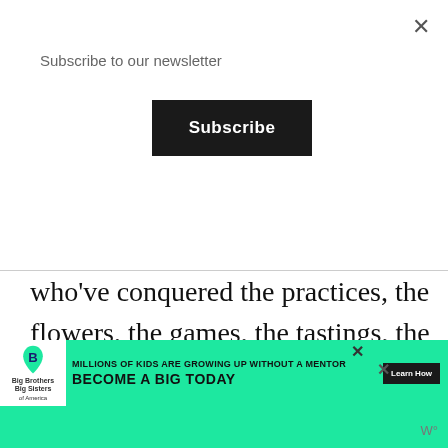Subscribe to our newsletter
Subscribe
who’ve conquered the practices, the flowers, the games, the tastings, the clinics, the guest lists, the forgotten playbooks, and then some.

Who knows, you may actually luck out on a BYE week or better yet, end up receiving a huge chocolate shaped football wedding
[Figure (other): Big Brothers Big Sisters advertisement banner: MILLIONS OF KIDS ARE GROWING UP WITHOUT A MENTOR. BECOME A BIG TODAY. Learn How.]